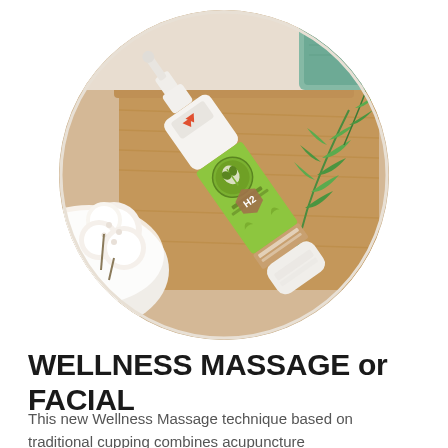[Figure (photo): A circular cropped product photo showing a green and white massage oil or lotion bottle (with Japanese text and H2 label) lying on a wooden tray, surrounded by cotton flowers on the left, green fern leaves on the right, and a teal towel in the upper right corner. The background is warm wood tones.]
WELLNESS MASSAGE or FACIAL
This new Wellness Massage technique based on traditional cupping combines acupuncture